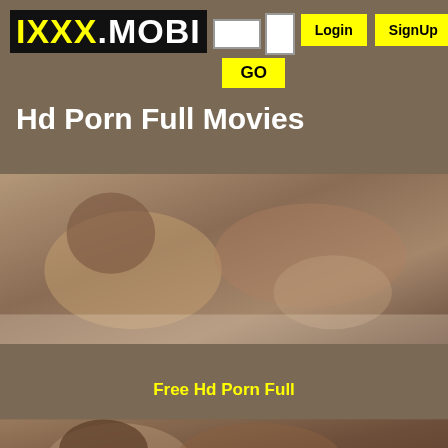IXXX.MOBI
Hd Porn Full Movies
[Figure (photo): Thumbnail photo of adult content]
Free Hd Porn Full
[Figure (photo): Second thumbnail photo of adult content]